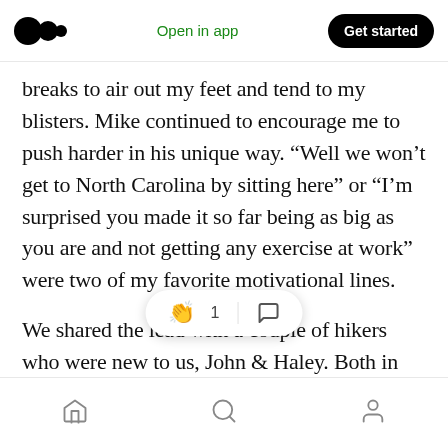Medium logo | Open in app | Get started
breaks to air out my feet and tend to my blisters. Mike continued to encourage me to push harder in his unique way. “Well we won’t get to North Carolina by sitting here” or “I’m surprised you made it so far being as big as you are and not getting any exercise at work” were two of my favorite motivational lines.

We shared the lead with a couple of hikers who were new to us, John & Haley. Both in their 20’s and both had started out the same day. Haley was planning on comp[leting the last] 50 miles of the
Home | Search | Profile